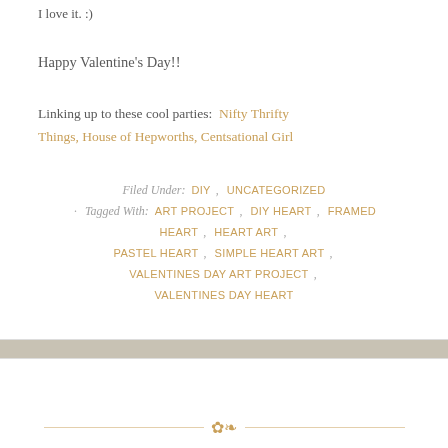I love it. :)
Happy Valentine's Day!!
Linking up to these cool parties: Nifty Thrifty Things, House of Hepworths, Centsational Girl
Filed Under: DIY , UNCATEGORIZED · Tagged With: ART PROJECT , DIY HEART , FRAMED HEART , HEART ART , PASTEL HEART , SIMPLE HEART ART , VALENTINES DAY ART PROJECT , VALENTINES DAY HEART
[Figure (illustration): Decorative divider with floral ornament and horizontal lines]